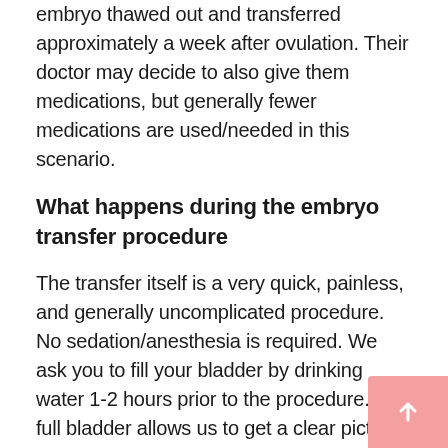embryo thawed out and transferred approximately a week after ovulation. Their doctor may decide to also give them medications, but generally fewer medications are used/needed in this scenario.
What happens during the embryo transfer procedure
The transfer itself is a very quick, painless, and generally uncomplicated procedure. No sedation/anesthesia is required. We ask you to fill your bladder by drinking water 1-2 hours prior to the procedure. A full bladder allows us to get a clear picture on the sonogram (which is done abdominally) which guides us as we perform the transfer. We place a speculum in the vagina and clean off the cervix with some solution. An assistant